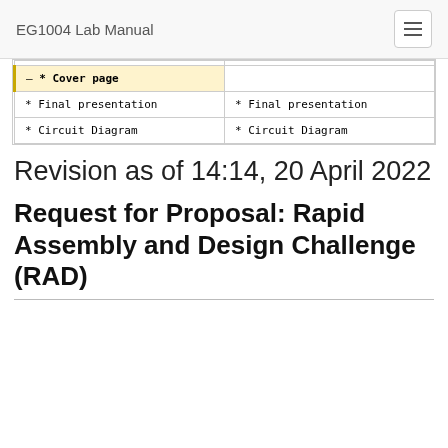EG1004 Lab Manual
|  |  |
| --- | --- |
|  |  |
| * Cover page |  |
| * Final presentation | * Final presentation |
| * Circuit Diagram | * Circuit Diagram |
Revision as of 14:14, 20 April 2022
Request for Proposal: Rapid Assembly and Design Challenge (RAD)